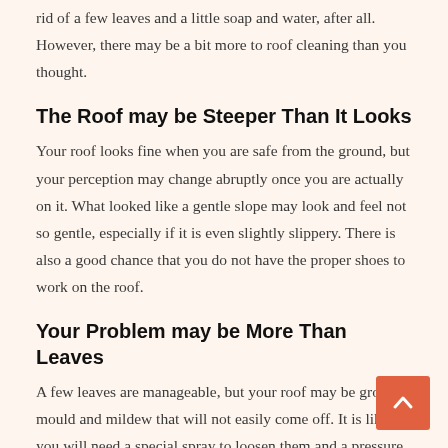rid of a few leaves and a little soap and water, after all. However, there may be a bit more to roof cleaning than you thought.
The Roof may be Steeper Than It Looks
Your roof looks fine when you are safe from the ground, but your perception may change abruptly once you are actually on it. What looked like a gentle slope may look and feel not so gentle, especially if it is even slightly slippery. There is also a good chance that you do not have the proper shoes to work on the roof.
Your Problem may be More Than Leaves
A few leaves are manageable, but your roof may be growing mould and mildew that will not easily come off. It is likely you will need a special spray to loosen them and a pressure